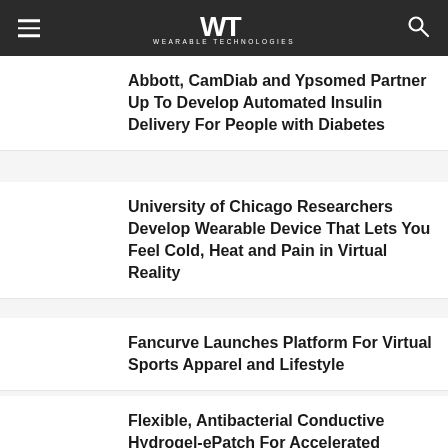WT WEARABLE TECHNOLOGIES
Abbott, CamDiab and Ypsomed Partner Up To Develop Automated Insulin Delivery For People with Diabetes
University of Chicago Researchers Develop Wearable Device That Lets You Feel Cold, Heat and Pain in Virtual Reality
Fancurve Launches Platform For Virtual Sports Apparel and Lifestyle
Flexible, Antibacterial Conductive Hydrogel-ePatch For Accelerated Wound Healing